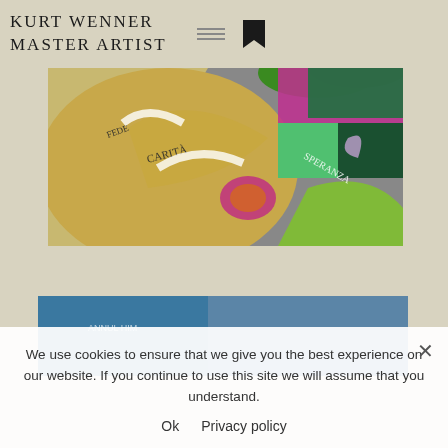KURT WENNER
MASTER ARTIST
[Figure (photo): Aerial view of colorful street art / chalk art installation with decorative arched patterns, text labels on sandy surface, flower arrangements, and a colorful patchwork section with green, magenta and teal designs]
[Figure (photo): Partial view of another artwork or banner with blue surface and text]
We use cookies to ensure that we give you the best experience on our website. If you continue to use this site we will assume that you understand.
Ok   Privacy policy